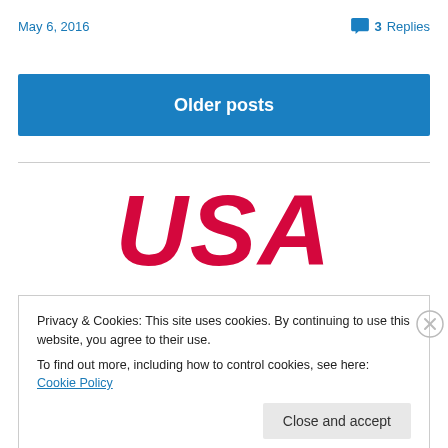May 6, 2016
3 Replies
Older posts
[Figure (logo): USA logo in large red bold italic text]
Privacy & Cookies: This site uses cookies. By continuing to use this website, you agree to their use.
To find out more, including how to control cookies, see here: Cookie Policy
Close and accept